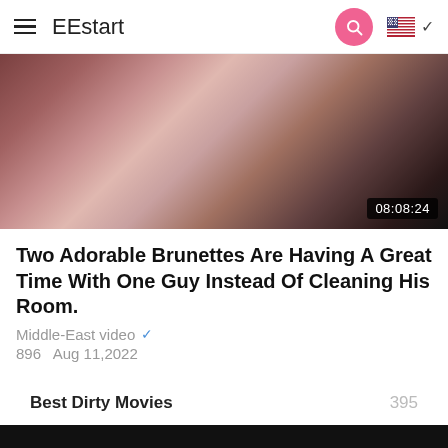EEstart
[Figure (screenshot): Video thumbnail showing two women, duration 08:08:24]
Two Adorable Brunettes Are Having A Great Time With One Guy Instead Of Cleaning His Room.
Middle-East video ✓
896  Aug 11,2022
Best Dirty Movies  395
[Figure (screenshot): Bottom video thumbnail, dark/black]